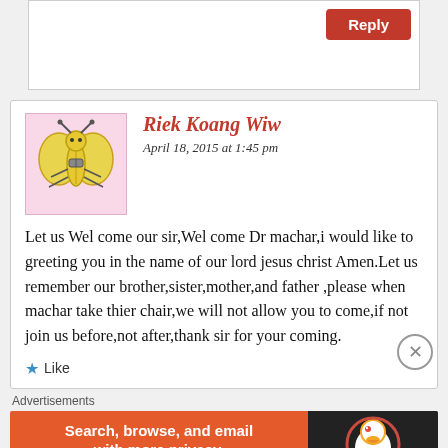[Figure (screenshot): Top portion of a reply/comment input box with a red Reply button in the top-right corner]
Riek Koang Wiw
April 18, 2015 at 1:45 pm
Let us Wel come our sir,Wel come Dr machar,i would like to greeting you in the name of our lord jesus christ Amen.Let us remember our brother,sister,mother,and father ,please when machar take thier chair,we will not allow you to come,if not join us before,not after,thank sir for your coming.
Like
Advertisements
[Figure (screenshot): DuckDuckGo ad banner: 'Search, browse, and email with more privacy. All in One Free App' with DuckDuckGo duck logo on dark background]